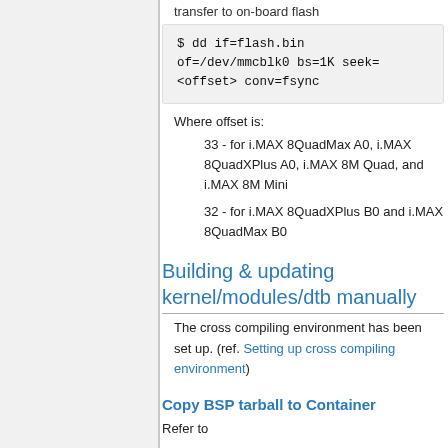transfer to on-board flash
$ dd if=flash.bin of=/dev/mmcblk0 bs=1K seek=<offset> conv=fsync
Where offset is:
33 - for i.MAX 8QuadMax A0, i.MAX 8QuadXPlus A0, i.MAX 8M Quad, and i.MAX 8M Mini
32 - for i.MAX 8QuadXPlus B0 and i.MAX 8QuadMax B0
Building & updating kernel/modules/dtb manually
The cross compiling environment has been set up. (ref. Setting up cross compiling environment)
Copy BSP tarball to Container
Refer to